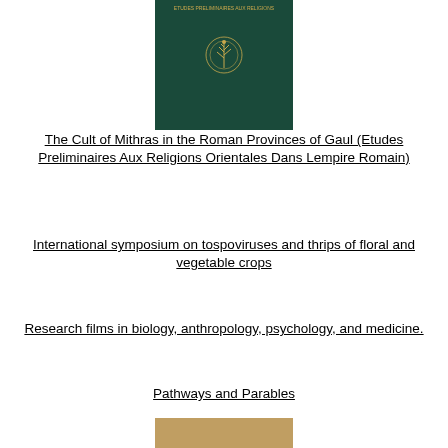[Figure (photo): Dark green book cover with a small gold emblem/logo in the center]
The Cult of Mithras in the Roman Provinces of Gaul (Etudes Preliminaires Aux Religions Orientales Dans Lempire Romain)
International symposium on tospoviruses and thrips of floral and vegetable crops
Research films in biology, anthropology, psychology, and medicine.
Pathways and Parables
[Figure (photo): Partial view of another book cover with a tan/beige color]